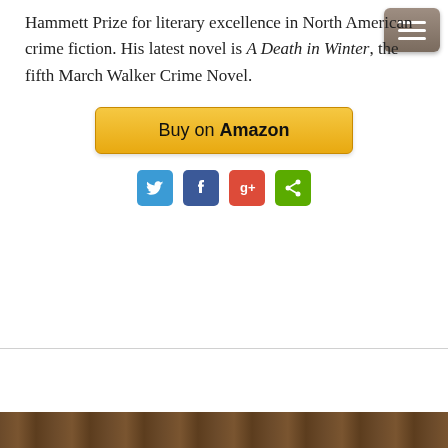Hammett Prize for literary excellence in North American crime fiction. His latest novel is A Death in Winter, the fifth March Walker Crime Novel.
[Figure (other): Buy on Amazon button — a gold/yellow rounded rectangle button with text 'Buy on Amazon']
[Figure (other): Social sharing icons row: Twitter (blue), Facebook (blue), Google+ (red), Share (green)]